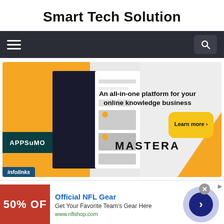Smart Tech Solution
[Figure (screenshot): Dark navigation bar with hamburger menu on left and search icon button on right]
[Figure (screenshot): AppSumo / Mastera promotional banner ad: orange and dark background with app screenshot on left, text 'An all-in-one platform for your online knowledge business' with MASTERA logo and yellow 'Learn more' button on right. Infolinks badge in bottom left.]
[Figure (screenshot): Bottom ad strip: Official NFL Gear ad with red box showing '50% OFF', blue title 'Official NFL Gear', subtitle 'Get Your Favorite Team's Gear Here', green URL 'www.nflshop.com', close X button, ad sponsor icon, and blue circle navigation arrow on right]